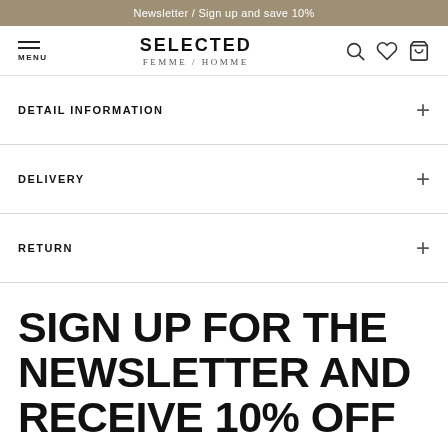Newsletter / Sign up and save 10%
[Figure (logo): Selected Femme / Homme logo with hamburger menu and nav icons (search, heart, bag)]
DETAIL INFORMATION
DELIVERY
RETURN
SIGN UP FOR THE NEWSLETTER AND RECEIVE 10% OFF